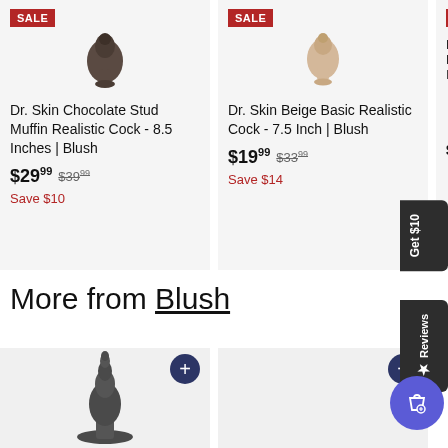[Figure (photo): Product card: Dr. Skin Chocolate Stud Muffin Realistic Cock - 8.5 Inches | Blush, on sale $29.99 (was $39.99), Save $10]
[Figure (photo): Product card: Dr. Skin Beige Basic Realistic Cock - 7.5 Inch | Blush, on sale $19.99 (was $33.99), Save $14]
[Figure (photo): Partially visible product card: Dr. Skin Realistic Cock, $19.99, on sale]
More from Blush
[Figure (photo): Product card showing a dark grey anal plug toy, with + quick add button]
[Figure (photo): Product card (empty/loading), with + quick add button]